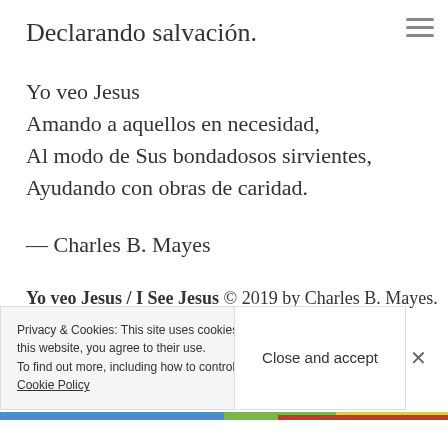Declarando salvación.
Yo veo Jesus
Amando a aquellos en necesidad,
Al modo de Sus bondadosos sirvientes,
Ayudando con obras de caridad.
— Charles B. Mayes
Yo veo Jesus / I See Jesus © 2019 by Charles B. Mayes.  All Rights Reserved.
Privacy & Cookies: This site uses cookies. By continuing to use this website, you agree to their use. To find out more, including how to control cookies, see here: Cookie Policy
Close and accept